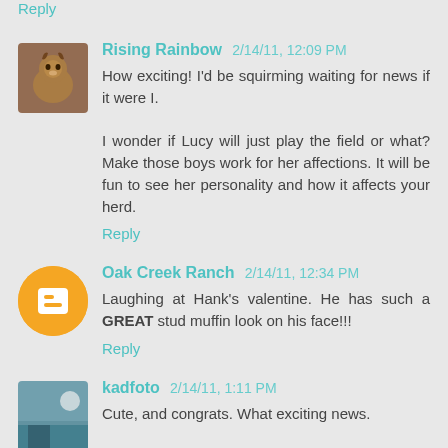Reply
Rising Rainbow 2/14/11, 12:09 PM
How exciting! I'd be squirming waiting for news if it were I.

I wonder if Lucy will just play the field or what? Make those boys work for her affections. It will be fun to see her personality and how it affects your herd.
Reply
Oak Creek Ranch 2/14/11, 12:34 PM
Laughing at Hank's valentine. He has such a GREAT stud muffin look on his face!!!
Reply
kadfoto 2/14/11, 1:11 PM
Cute, and congrats. What exciting news.